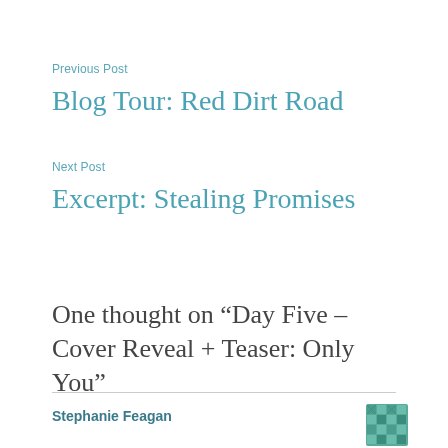Previous Post
Blog Tour: Red Dirt Road
Next Post
Excerpt: Stealing Promises
One thought on “Day Five – Cover Reveal + Teaser: Only You”
Stephanie Feagan